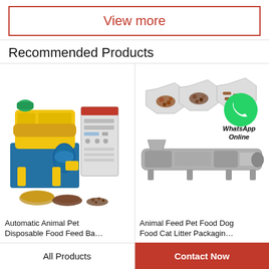View more
Recommended Products
[Figure (photo): Yellow and blue automatic animal pet food feed machine with control panel, and piles of feed material on the ground]
Automatic Animal Pet Disposable Food Feed Ba…
[Figure (photo): Animal feed pet food processing machine with hexagonal product images and WhatsApp Online overlay icon]
Animal Feed Pet Food Dog Food Cat Litter Packagin…
All Products
Contact Now